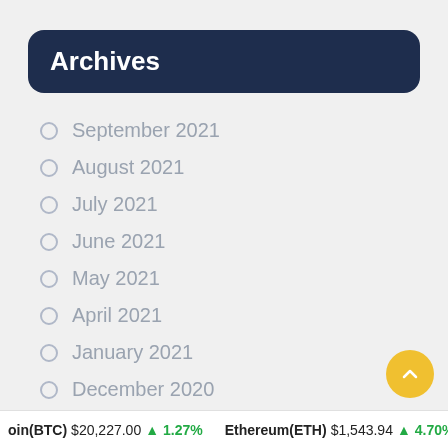Archives
September 2021
August 2021
July 2021
June 2021
May 2021
April 2021
January 2021
December 2020
November 2020
oin(BTC)  $20,227.00  ↑ 1.27%    Ethereum(ETH)  $1,543.94  ↑ 4.70%